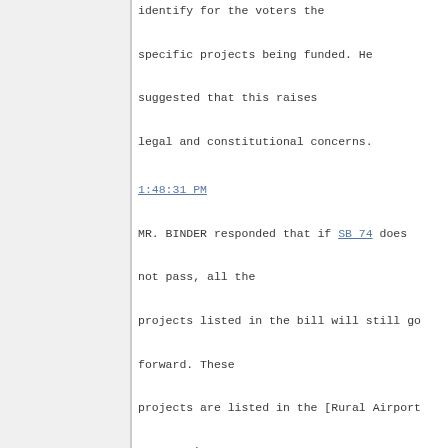identify for the voters the specific projects being funded. He suggested that this raises legal and constitutional concerns.
1:48:31 PM
MR. BINDER responded that if SB 74 does not pass, all the projects listed in the bill will still go forward. These projects are listed in the [Rural Airport System Airport Improvement Program (AIP)] spending plan. The GO Bond funding allocated to these projects means that $32 million in federal dollars not required on these projects will flow over to the